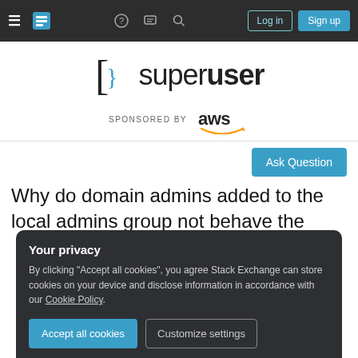Stack Exchange navigation bar with hamburger menu, logo icon, help, chat, search icons, Log in and Sign up buttons
[Figure (logo): Super User logo with bracket icon and 'superuser' wordmark]
SPONSORED BY aws
Ask Question
Why do domain admins added to the local admins group not behave the
Your privacy
By clicking "Accept all cookies", you agree Stack Exchange can store cookies on your device and disclose information in accordance with our Cookie Policy.
Accept all cookies    Customize settings